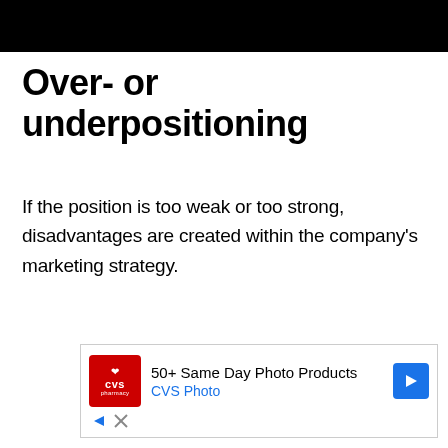Over- or underpositioning
If the position is too weak or too strong, disadvantages are created within the company's marketing strategy.
[Figure (other): CVS Pharmacy advertisement: 50+ Same Day Photo Products, CVS Photo]